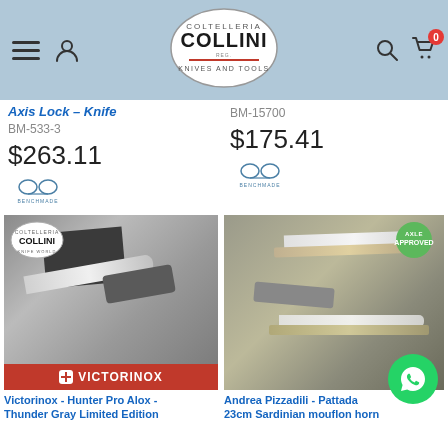Coltelleria Collini - Knives and Tools
Axis Lock - Knife
BM-533-3
$263.11
BM-15700
$175.41
[Figure (photo): Victorinox Hunter Pro Alox Thunder Gray Limited Edition knife with paracord and packaging. Victorinox brand banner at bottom.]
Victorinox - Hunter Pro Alox - Thunder Gray Limited Edition
[Figure (photo): Andrea Pizzadili - Pattada 23cm Sardinian mouflon horn knife - PRIVATE COLLECTION. Hand holding knife with additional blades displayed.]
Andrea Pizzadili - Pattada 23cm Sardinian mouflon horn PRIVATE COLLECTION